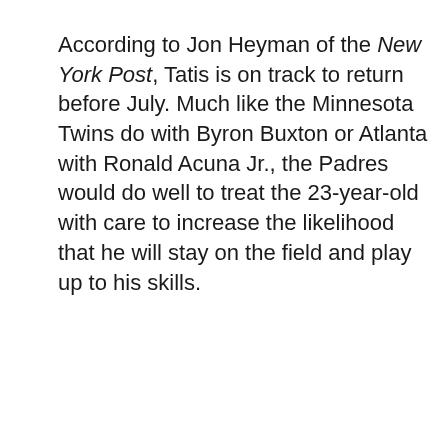According to Jon Heyman of the New York Post, Tatis is on track to return before July. Much like the Minnesota Twins do with Byron Buxton or Atlanta with Ronald Acuna Jr., the Padres would do well to treat the 23-year-old with care to increase the likelihood that he will stay on the field and play up to his skills.
lest anyone forget, said skills are extreme
We use cookies on our website to give you the most relevant experience by remembering your preferences and repeat visits. By clicking “Accept All”, you consent to the use of ALL the cookies. However, you may visit "Cookie Settings" to provide a controlled consent.